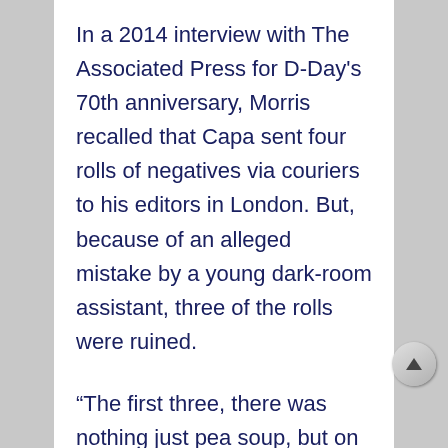In a 2014 interview with The Associated Press for D-Day's 70th anniversary, Morris recalled that Capa sent four rolls of negatives via couriers to his editors in London. But, because of an alleged mistake by a young dark-room assistant, three of the rolls were ruined.
“The first three, there was nothing just pea soup, but on the fourth there were eleven frames, which had discernible images, so I ordered